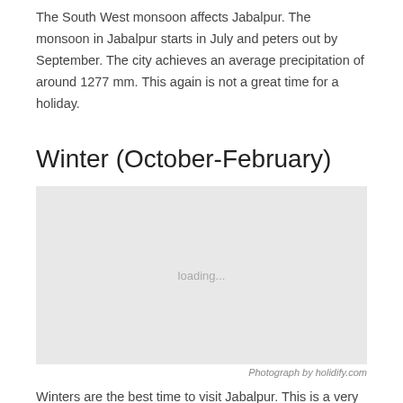The South West monsoon affects Jabalpur. The monsoon in Jabalpur starts in July and peters out by September. The city achieves an average precipitation of around 1277 mm. This again is not a great time for a holiday.
Winter (October-February)
[Figure (photo): Loading placeholder image showing 'loading...' text on a light grey background]
Photograph by holidify.com
Winters are the best time to visit Jabalpur. This is a very enjoyable time of the year when the temperature is...